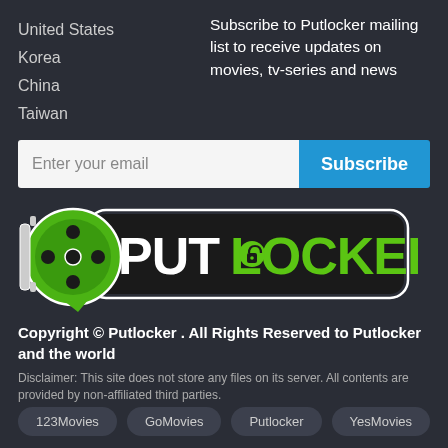United States
Korea
China
Taiwan
Subscribe to Putlocker mailing list to receive updates on movies, tv-series and news
Enter your email
Subscribe
[Figure (logo): Putlocker logo with a film reel icon and the text PUT LOCKER in green on black background]
Copyright © Putlocker . All Rights Reserved to Putlocker and the world
Disclaimer: This site does not store any files on its server. All contents are provided by non-affiliated third parties.
123Movies
GoMovies
Putlocker
YesMovies